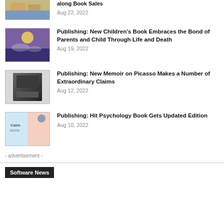[Figure (photo): Book cover image - first item (partial, top cut off)]
along Book Sales
Aug 22, 2022
[Figure (photo): Children's book cover with purple night sky and characters]
Publishing: New Children's Book Embraces the Bond of Parents and Child Through Life and Death
Aug 19, 2022
[Figure (photo): Dark book cover - memoir about Picasso]
Publishing: New Memoir on Picasso Makes a Number of Extraordinary Claims
Aug 12, 2022
[Figure (photo): Calm Sense book cover with blue and pink design]
Publishing: Hit Psychology Book Gets Updated Edition
Aug 10, 2022
- advertisement -
Software News